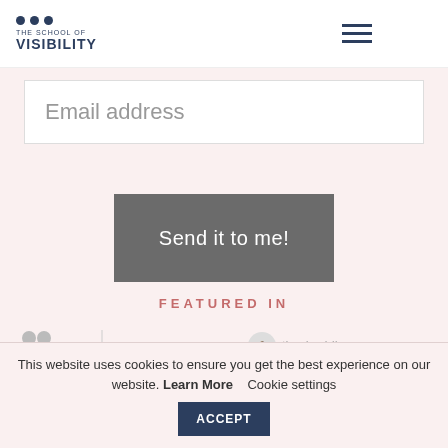[Figure (logo): The School of Visibility logo with three dark blue dots and text]
Email address
Send it to me!
FEATURED IN
[Figure (illustration): Row of media publication logos: ABC, THE, AGE, tiny buddha]
This website uses cookies to ensure you get the best experience on our website. Learn More   Cookie settings
ACCEPT